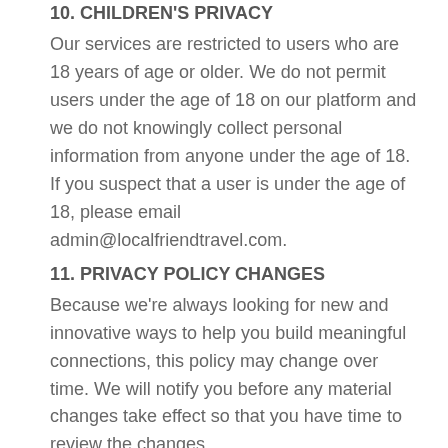10. CHILDREN'S PRIVACY
Our services are restricted to users who are 18 years of age or older. We do not permit users under the age of 18 on our platform and we do not knowingly collect personal information from anyone under the age of 18. If you suspect that a user is under the age of 18, please email admin@localfriendtravel.com.
11. PRIVACY POLICY CHANGES
Because we're always looking for new and innovative ways to help you build meaningful connections, this policy may change over time. We will notify you before any material changes take effect so that you have time to review the changes.
12. HOW TO CONTACT US